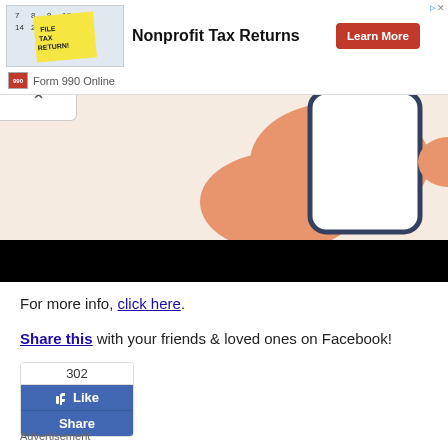[Figure (screenshot): Advertisement banner: image of sticky note on calendar with 'File Tax Return!', title 'Nonprofit Tax Returns', red 'Learn More' button, and 'Form 990 Online' branding.]
[Figure (illustration): Partial illustration showing a hand holding a phone against beige background, with a black bar at the bottom (video player chrome).]
For more info, click here.
Share this with your friends & loved ones on Facebook!
[Figure (screenshot): Facebook Like/Share widget showing count of 302, a blue Like button, and a blue Share button.]
Advertisement